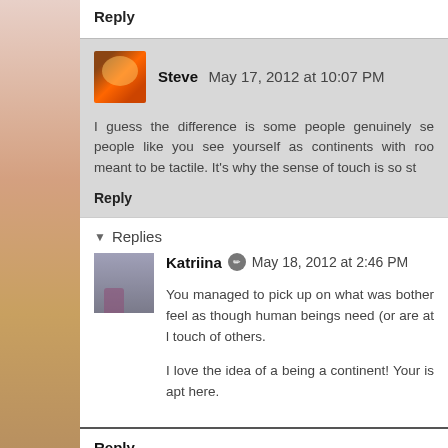Reply
Steve  May 17, 2012 at 10:07 PM
I guess the difference is some people genuinely se... people like you see yourself as continents with roo... meant to be tactile. It's why the sense of touch is so st...
Reply
Replies
Katriina  May 18, 2012 at 2:46 PM
You managed to pick up on what was bother... feel as though human beings need (or are at l... touch of others.
I love the idea of a being a continent! Your is... apt here.
Reply